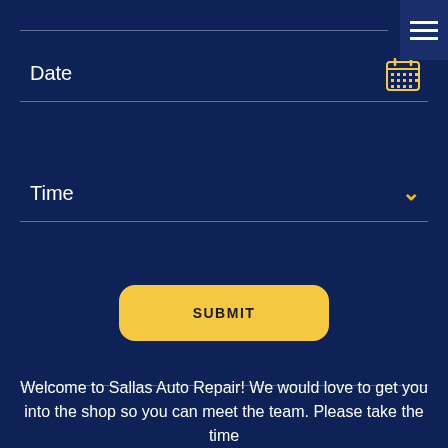[Figure (screenshot): Hamburger menu icon (three horizontal white lines) on dark navy background, top right corner]
Date
Time
SUBMIT
Welcome to Sallas Auto Repair! We would love to get you into the shop so you can meet the team. Please take the time